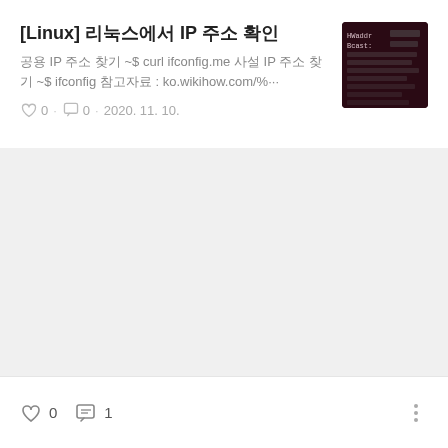[Linux] 리눅스에서 IP 주소 확인
공용 IP 주소 찾기 ~$ curl ifconfig.me 사설 IP 주소 찾기 ~$ ifconfig 참고자료 : ko.wikihow.com/%···
0  0  2020. 11. 10.
[Figure (screenshot): Terminal screenshot showing ifconfig output with HWaddr and Bcast fields on dark background]
0  1